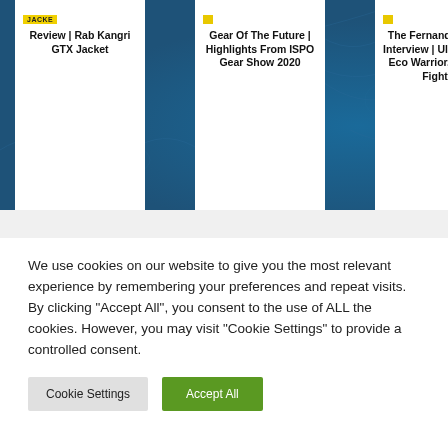[Figure (screenshot): Blue background with topographic line pattern and three white card panels showing article titles]
Review | Rab Kangri GTX Jacket
Gear Of The Future | Highlights From ISPO Gear Show 2020
The Fernando Maciel Interview | Ultrarunner, Eco Warrior, Lawyer, Fighter
We use cookies on our website to give you the most relevant experience by remembering your preferences and repeat visits. By clicking "Accept All", you consent to the use of ALL the cookies. However, you may visit "Cookie Settings" to provide a controlled consent.
Cookie Settings
Accept All